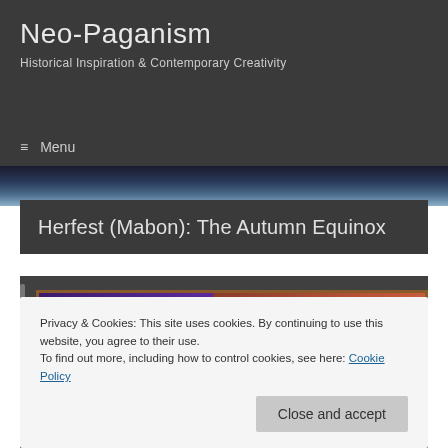Neo-Paganism
Historical Inspiration & Contemporary Creativity
≡ Menu
[Figure (photo): Banner showing Earth from space, partial view with blue atmosphere and clouds]
Herfest (Mabon): The Autumn Equinox
[Figure (illustration): Fantasy illustration with purple background showing a large moon, mystical figures with warm earth tones, reds, and purples, framed with brown border]
Privacy & Cookies: This site uses cookies. By continuing to use this website, you agree to their use.
To find out more, including how to control cookies, see here: Cookie Policy
Close and accept